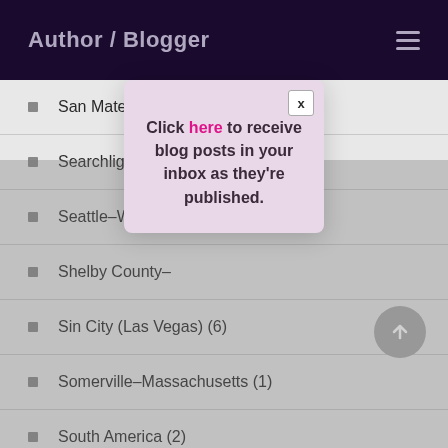Author / Blogger
San Mateo County–California (3)
Searchlight–Nevada
Seattle–Washington
Shelby County–
Sin City (Las Vegas) (6)
Somerville–Massachusetts (1)
South America (2)
South Lake Tahoe–California (1)
Click here to receive blog posts in your inbox as they're published.